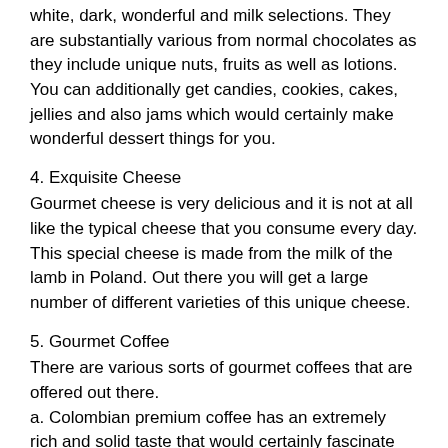white, dark, wonderful and milk selections. They are substantially various from normal chocolates as they include unique nuts, fruits as well as lotions. You can additionally get candies, cookies, cakes, jellies and also jams which would certainly make wonderful dessert things for you.
4. Exquisite Cheese
Gourmet cheese is very delicious and it is not at all like the typical cheese that you consume every day. This special cheese is made from the milk of the lamb in Poland. Out there you will get a large number of different varieties of this unique cheese.
5. Gourmet Coffee
There are various sorts of gourmet coffees that are offered out there.
a. Colombian premium coffee has an extremely rich and solid taste that would certainly fascinate your senses.
b. Flavored exquisite coffees like the Hazelnut, French vanilla, Creme, cookies as well as almond are just ideal for every single coffee lover.